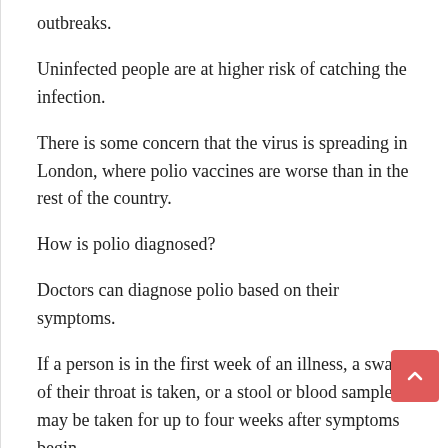outbreaks.
Uninfected people are at higher risk of catching the infection.
There is some concern that the virus is spreading in London, where polio vaccines are worse than in the rest of the country.
How is polio diagnosed?
Doctors can diagnose polio based on their symptoms.
If a person is in the first week of an illness, a swab of their throat is taken, or a stool or blood sample may be taken for up to four weeks after symptoms begin.
The sample is then sent to a laboratory, with tests confirming whether the virus is present.
What is meant by national event?